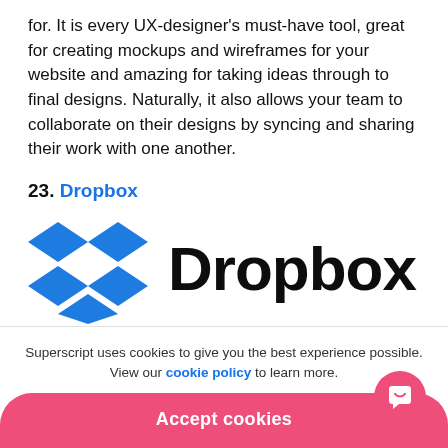for. It is every UX-designer's must-have tool, great for creating mockups and wireframes for your website and amazing for taking ideas through to final designs. Naturally, it also allows your team to collaborate on their designs by syncing and sharing their work with one another.
23. Dropbox
[Figure (logo): Dropbox logo: blue diamond/rhombus icon made of four diamond shapes arranged in a cross pattern, followed by the word 'Dropbox' in large bold black sans-serif text]
Superscript uses cookies to give you the best experience possible. View our cookie policy to learn more.
Accept cookies